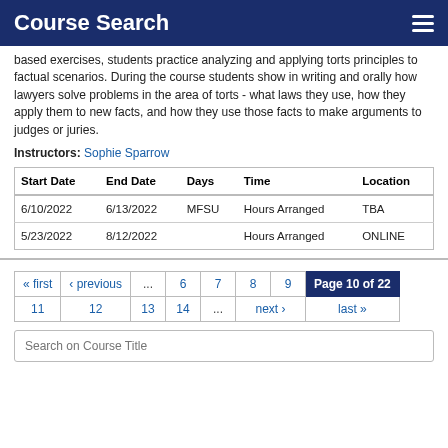Course Search
based exercises, students practice analyzing and applying torts principles to factual scenarios. During the course students show in writing and orally how lawyers solve problems in the area of torts - what laws they use, how they apply them to new facts, and how they use those facts to make arguments to judges or juries.
Instructors: Sophie Sparrow
| Start Date | End Date | Days | Time | Location |
| --- | --- | --- | --- | --- |
| 6/10/2022 | 6/13/2022 | MFSU | Hours Arranged | TBA |
| 5/23/2022 | 8/12/2022 |  | Hours Arranged | ONLINE |
« first ‹ previous … 6 7 8 9 Page 10 of 22 11 12 13 14 … next › last »
Search on Course Title